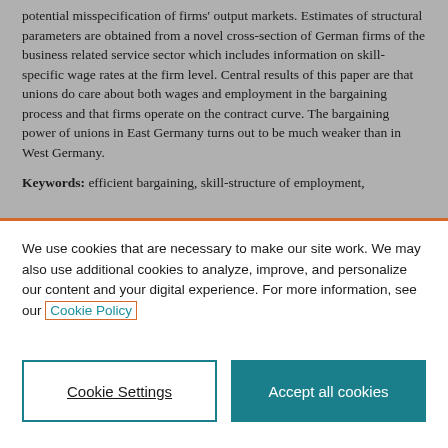potential misspecification of firms' output markets. Estimates of structural parameters are obtained from a novel cross-section of German firms of the business related service sector which includes information on skill-specific wage rates at the firm level. Central results of this paper are that unions do care about both wages and employment in the bargaining process and that firms operate on the contract curve. The bargaining power of unions in East Germany turns out to be much weaker than in West Germany.
Keywords: efficient bargaining, skill-structure of employment,
We use cookies that are necessary to make our site work. We may also use additional cookies to analyze, improve, and personalize our content and your digital experience. For more information, see our Cookie Policy